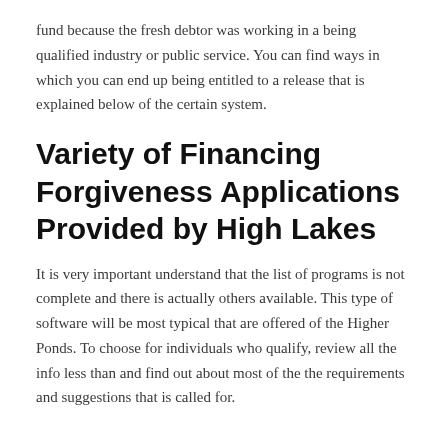fund because the fresh debtor was working in a being qualified industry or public service. You can find ways in which you can end up being entitled to a release that is explained below of the certain system.
Variety of Financing Forgiveness Applications Provided by High Lakes
It is very important understand that the list of programs is not complete and there is actually others available. This type of software will be most typical that are offered of the Higher Ponds. To choose for individuals who qualify, review all the info less than and find out about most of the the requirements and suggestions that is called for.